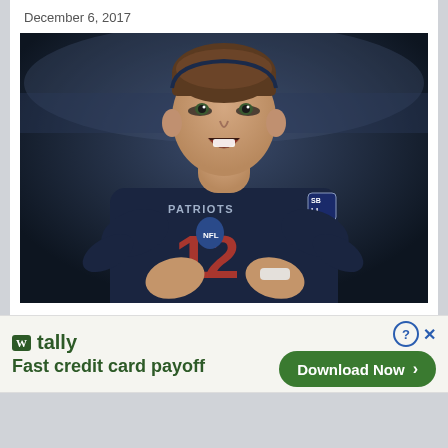December 6, 2017
[Figure (photo): NFL quarterback Tom Brady in New England Patriots dark navy uniform, clapping hands with mouth open, wearing a Super Bowl LI patch, stadium background blurred]
Max Kellerman – “Tom Brady has a wet noodle for an arm right now”
November 19, 2018
[Figure (other): Advertisement banner for Tally app: green logo box with W, tally text, Fast credit card payoff tagline, Download Now button in green rounded rectangle, close/question mark icons]